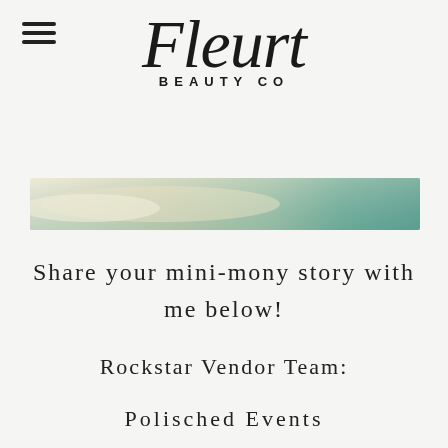[Figure (logo): Fleurt Beauty Co logo with script font and sans-serif subtitle]
[Figure (illustration): Horizontal banner image with watercolor gradient in cream and teal/green tones]
Share your mini-mony story with me below!
Rockstar Vendor Team:
Polisched Events